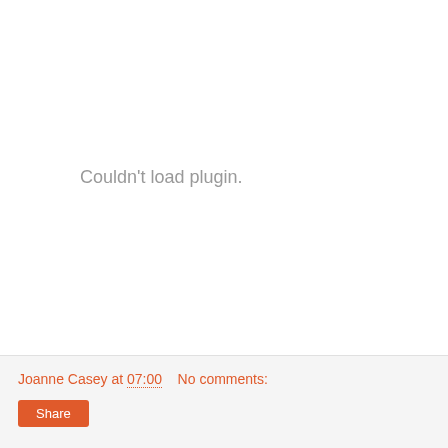Couldn't load plugin.
Joanne Casey at 07:00    No comments:
Share